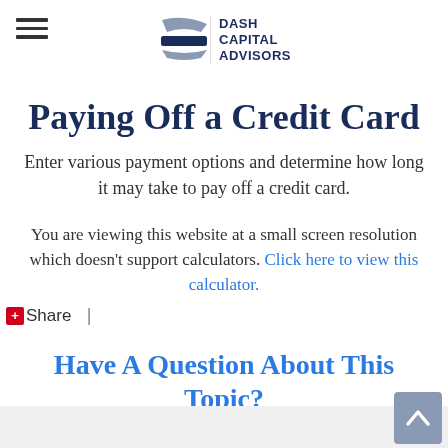Dash Capital Advisors
Paying Off a Credit Card
Enter various payment options and determine how long it may take to pay off a credit card.
You are viewing this website at a small screen resolution which doesn't support calculators. Click here to view this calculator.
+ Share |
Have A Question About This Topic?
Name